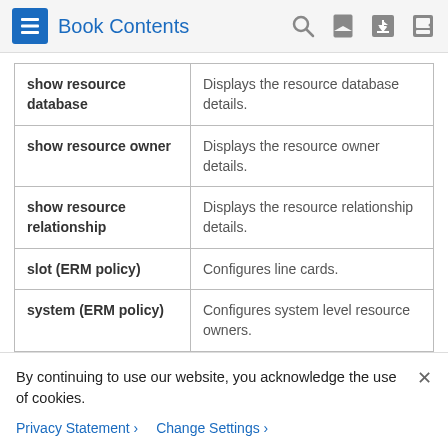Book Contents
| Command | Description |
| --- | --- |
| show resource database | Displays the resource database details. |
| show resource owner | Displays the resource owner details. |
| show resource relationship | Displays the resource relationship details. |
| slot (ERM policy) | Configures line cards. |
| system (ERM policy) | Configures system level resource owners. |
show resource all
By continuing to use our website, you acknowledge the use of cookies.
Privacy Statement  Change Settings